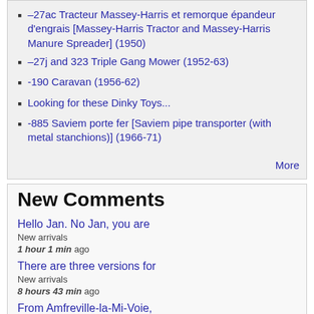–27ac Tracteur Massey-Harris et remorque épandeur d'engrais [Massey-Harris Tractor and Massey-Harris Manure Spreader] (1950)
–27j and 323 Triple Gang Mower (1952-63)
-190 Caravan (1956-62)
Looking for these Dinky Toys...
-885 Saviem porte fer [Saviem pipe transporter (with metal stanchions)] (1966-71)
More
New Comments
Hello Jan. No Jan, you are
New arrivals
1 hour 1 min ago
There are three versions for
New arrivals
8 hours 43 min ago
From Amfreville-la-Mi-Voie,
New arrivals